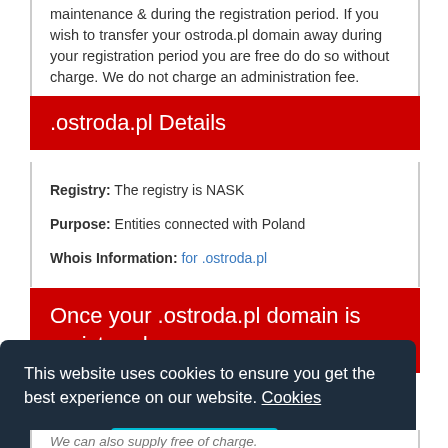maintenance & during the registration period. If you wish to transfer your ostroda.pl domain away during your registration period you are free do do so without charge. We do not charge an administration fee.
.ostroda.pl Details
Registry: The registry is NASK
Purpose: Entities connected with Poland
Whois Information: for .ostroda.pl
Once your .ostroda.pl domain is registered
This website uses cookies to ensure you get the best experience on our website. Cookies
Decline   Allow cookies
We can also supply free of charge.